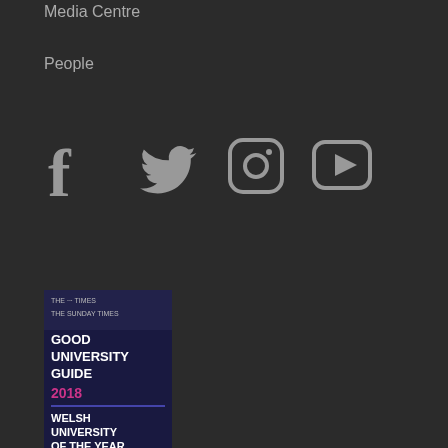Media Centre
People
[Figure (illustration): Social media icons: Facebook, Twitter, Instagram, YouTube in light grey on dark background]
[Figure (logo): The Times / The Sunday Times Good University Guide 2018 - Welsh University of the Year badge with blue and dark background]
5TH FOR RESEARCH
[Figure (logo): REF2014 Research Excellence Framework logo in white on dark background]
[Figure (logo): QAA Cymru logo - diamond eye shape with QAA Cymru text]
UK Quality Assured
Sicrwydd Ansawdd y DU
Part of the
RUSSELL